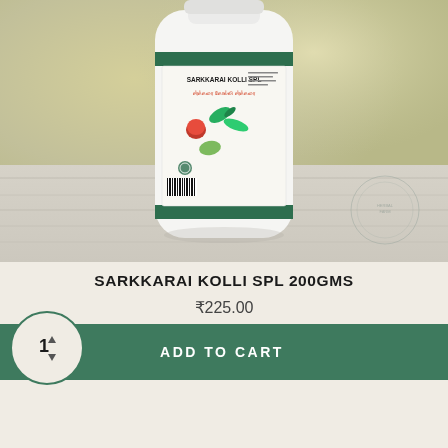[Figure (photo): A white plastic bottle of Sarkkarai Kolli SPL 200GMS herbal product with a green-banded label showing herbs and Tamil text, placed on a wooden surface with a blurred natural background.]
SARKKARAI KOLLI SPL 200GMS
₹225.00
ADD TO CART